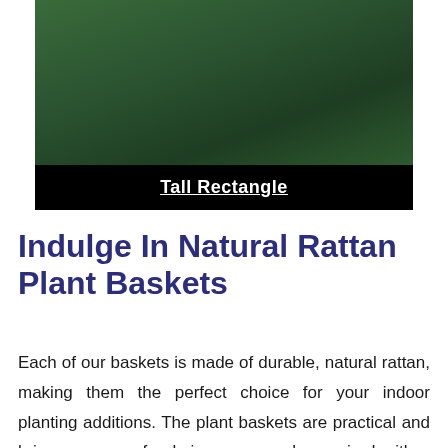[Figure (photo): Dark green surface (possibly a rattan basket top or plant surface) with a black bar at the bottom containing the text 'Tall Rectangle' in white underlined bold font.]
Indulge In Natural Rattan Plant Baskets
Each of our baskets is made of durable, natural rattan, making them the perfect choice for your indoor planting additions. The plant baskets are practical and bring a sense of calming energy when paired with a blooming plant. Not all of nature has to be kept outdoors. Especially in New York, getting these plant